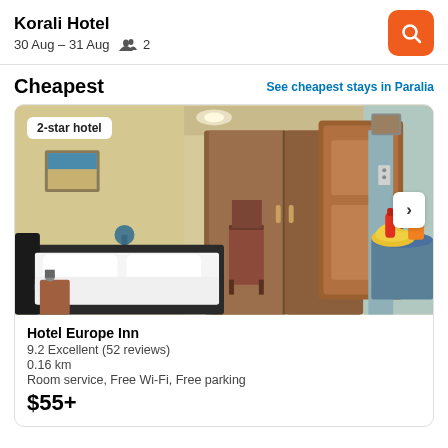Korali Hotel
30 Aug – 31 Aug  2
Cheapest
See cheapest stays in Paralia
[Figure (photo): Hotel room interior showing a double bed with white linens, wooden wardrobe closets, a wooden door, and a table with fruit bowl and pineapple. Badge reads '2-star hotel'.]
Hotel Europe Inn
9.2 Excellent (52 reviews)
0.16 km
Room service, Free Wi-Fi, Free parking
$55+